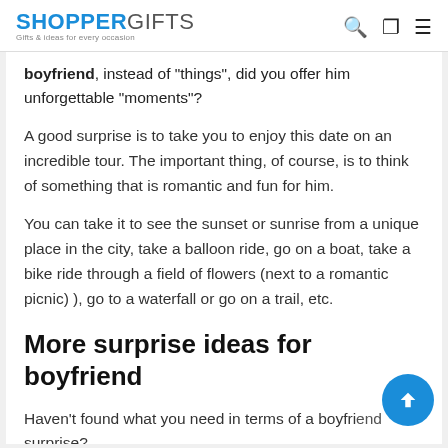SHOPPERGIFTS — Gifts & ideas for every occasion
boyfriend, instead of "things", did you offer him unforgettable "moments"?
A good surprise is to take you to enjoy this date on an incredible tour. The important thing, of course, is to think of something that is romantic and fun for him.
You can take it to see the sunset or sunrise from a unique place in the city, take a balloon ride, go on a boat, take a bike ride through a field of flowers (next to a romantic picnic) ), go to a waterfall or go on a trail, etc.
More surprise ideas for boyfriend
Haven't found what you need in terms of a boyfriend surprise?